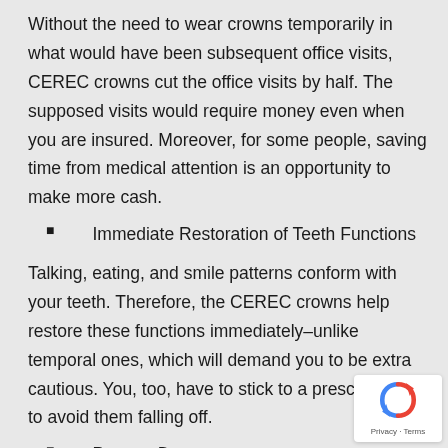Without the need to wear crowns temporarily in what would have been subsequent office visits, CEREC crowns cut the office visits by half. The supposed visits would require money even when you are insured. Moreover, for some people, saving time from medical attention is an opportunity to make more cash.
Immediate Restoration of Teeth Functions
Talking, eating, and smile patterns conform with your teeth. Therefore, the CEREC crowns help restore these functions immediately–unlike temporal ones, which will demand you to be extra cautious. You, too, have to stick to a prescribed diet to avoid them falling off.
Prevent Decay